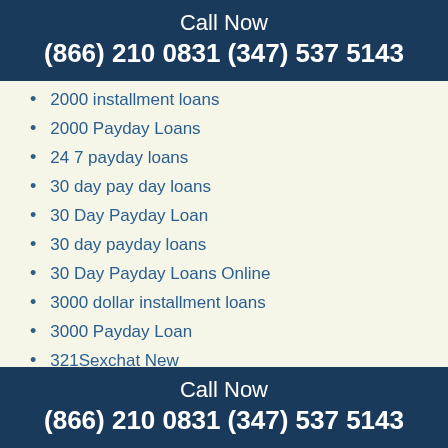Call Now
(866) 210 0831 (347) 537 5143
2000 installment loans
2000 Payday Loans
24 7 payday loans
30 day pay day loans
30 Day Payday Loan
30 day payday loans
30 Day Payday Loans Online
3000 dollar installment loans
3000 Payday Loan
321Sexchat New
4
500 Payday Loans Online
6
Ace Cash Near Me
Adam4Adam dating site
adam4adam log in
adam4adam online dating
Call Now
(866) 210 0831 (347) 537 5143